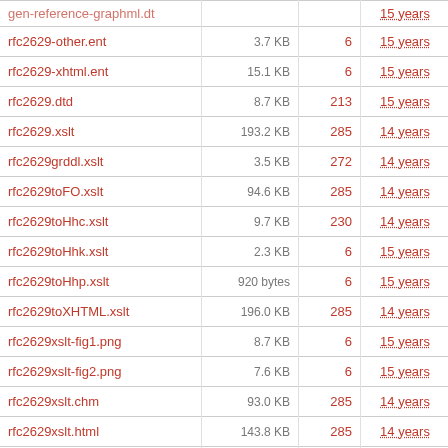| filename | size | rev | age | author |
| --- | --- | --- | --- | --- |
| gen-reference-graphml.dt |  |  | 15 years | fielding |
| rfc2629-other.ent | 3.7 KB | 6 | 15 years | fielding |
| rfc2629-xhtml.ent | 15.1 KB | 6 | 15 years | fielding |
| rfc2629.dtd | 8.7 KB | 213 | 15 years | julian.reschke |
| rfc2629.xslt | 193.2 KB | 285 | 14 years | julian.reschke |
| rfc2629grddl.xslt | 3.5 KB | 272 | 14 years | julian.reschke |
| rfc2629toFO.xslt | 94.6 KB | 285 | 14 years | julian.reschke |
| rfc2629toHhc.xslt | 9.7 KB | 230 | 14 years | julian.reschke |
| rfc2629toHhk.xslt | 2.3 KB | 6 | 15 years | fielding |
| rfc2629toHhp.xslt | 920 bytes | 6 | 15 years | fielding |
| rfc2629toXHTML.xslt | 196.0 KB | 285 | 14 years | julian.reschke |
| rfc2629xslt-fig1.png | 8.7 KB | 6 | 15 years | fielding |
| rfc2629xslt-fig2.png | 7.6 KB | 6 | 15 years | fielding |
| rfc2629xslt.chm | 93.0 KB | 285 | 14 years | julian.reschke |
| rfc2629xslt.html | 143.8 KB | 285 | 14 years | julian.reschke |
| rfc2629xslt.pdf | 243.6 KB | 285 | 14 years | julian.reschke |
| rfc2629xslt.txt | 101.5 KB | 285 | 14 years | julian.reschke |
| rfc2629xslt.xml | 102.0 KB | 285 | 14 years | julian.reschke |
| testcase.html | 37.0 KB | 285 | 14 years | julian.reschke |
| testcase.xml | 49.7 KB | 285 | 14 years | julian.reschke |